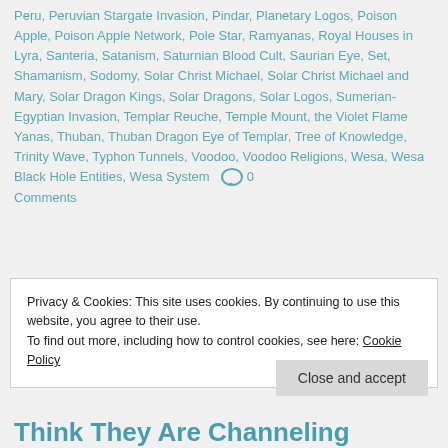Peru, Peruvian Stargate Invasion, Pindar, Planetary Logos, Poison Apple, Poison Apple Network, Pole Star, Ramyanas, Royal Houses in Lyra, Santeria, Satanism, Saturnian Blood Cult, Saurian Eye, Set, Shamanism, Sodomy, Solar Christ Michael, Solar Christ Michael and Mary, Solar Dragon Kings, Solar Dragons, Solar Logos, Sumerian-Egyptian Invasion, Templar Reuche, Temple Mount, the Violet Flame Yanas, Thuban, Thuban Dragon Eye of Templar, Tree of Knowledge, Trinity Wave, Typhon Tunnels, Voodoo, Voodoo Religions, Wesa, Wesa Black Hole Entities, Wesa System 💬 0 Comments
Privacy & Cookies: This site uses cookies. By continuing to use this website, you agree to their use. To find out more, including how to control cookies, see here: Cookie Policy
Close and accept
Think They Are Channeling